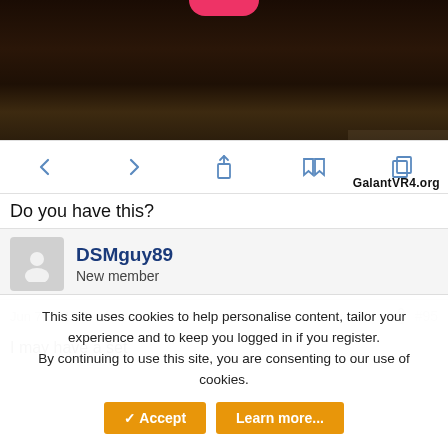[Figure (photo): Dark background photo with pink element at top, possibly a product image. Navigation bar below with left/right arrows, share, bookmark, and copy icons. Watermark reading GalantVR4.org visible.]
Do you have this?
DSMguy89
New member
Jun 7, 2017
#95
I may have a set
This site uses cookies to help personalise content, tailor your experience and to keep you logged in if you register.
By continuing to use this site, you are consenting to our use of cookies.